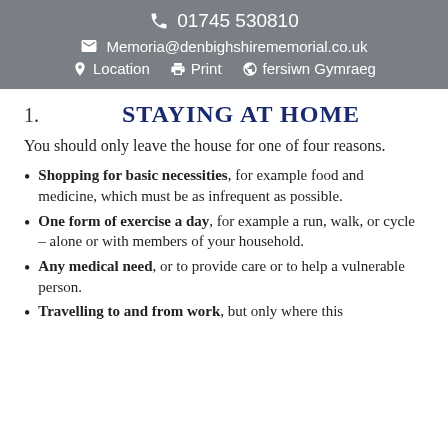📞 01745 530810 | ✉ Memoria@denbighshirememorial.co.uk | 📍 Location | 🖨 Print | 🌐 fersiwn Gymraeg
1. STAYING AT HOME
You should only leave the house for one of four reasons.
Shopping for basic necessities, for example food and medicine, which must be as infrequent as possible.
One form of exercise a day, for example a run, walk, or cycle – alone or with members of your household.
Any medical need, or to provide care or to help a vulnerable person.
Travelling to and from work, but only where this